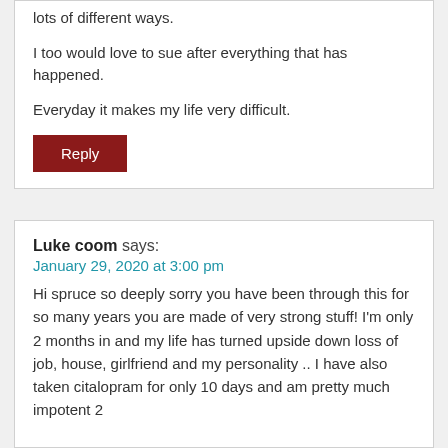lots of different ways.
I too would love to sue after everything that has happened.
Everyday it makes my life very difficult.
Reply
Luke coom says:
January 29, 2020 at 3:00 pm
Hi spruce so deeply sorry you have been through this for so many years you are made of very strong stuff! I'm only 2 months in and my life has turned upside down loss of job, house, girlfriend and my personality .. I have also taken citalopram for only 10 days and am pretty much impotent 2